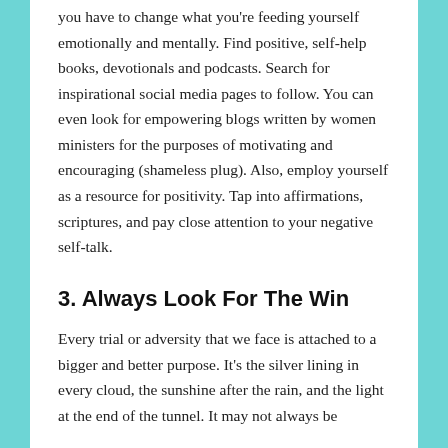you have to change what you're feeding yourself emotionally and mentally. Find positive, self-help books, devotionals and podcasts. Search for inspirational social media pages to follow. You can even look for empowering blogs written by women ministers for the purposes of motivating and encouraging (shameless plug). Also, employ yourself as a resource for positivity. Tap into affirmations, scriptures, and pay close attention to your negative self-talk.
3. Always Look For The Win
Every trial or adversity that we face is attached to a bigger and better purpose. It's the silver lining in every cloud, the sunshine after the rain, and the light at the end of the tunnel. It may not always be